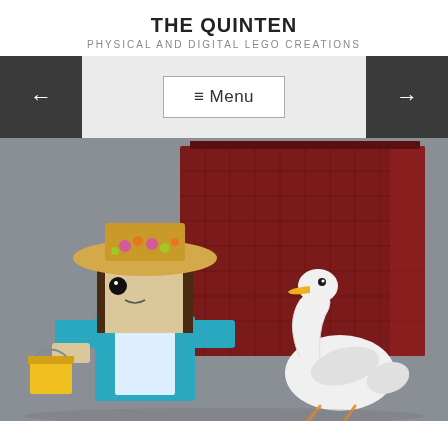THE QUINTEN
PHYSICAL AND DIGITAL LEGO CREATIONS
[Figure (other): Navigation bar with left arrow button, Menu button, and right arrow button on light gray background]
[Figure (photo): LEGO BrickHeadz figure of a girl wearing a straw hat decorated with flowers, dressed in teal/blue outfit, holding a yellow bucket, standing next to a LEGO white goose with orange beak and feet, with a large dark red LEGO wall/backdrop behind]